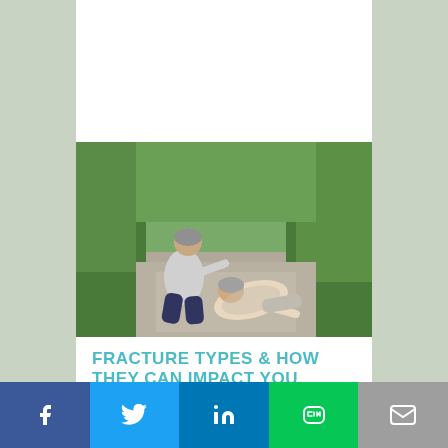[Figure (photo): Elderly woman fallen on a concrete path outdoors, with an older man kneeling beside her helping her up, surrounded by green hedges and tropical plants.]
FRACTURE TYPES & HOW THEY CAN IMPACT YOU
10/01/2022: Osteoporotic